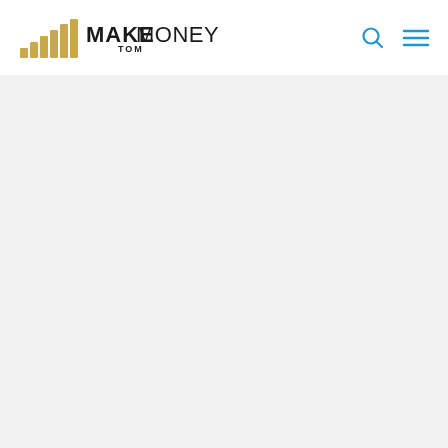Make Tom Money - logo with search and menu icons
[Figure (other): Large empty content area with light grey background below the header navigation bar]